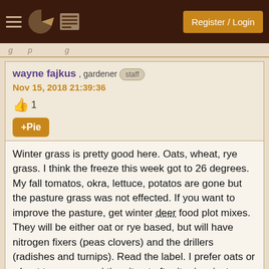Navigation bar with hamburger menu, pie icon, menu icon, Register / Login button
[partial page title — cropped]
wayne fajkus , gardener staff
Nov 15, 2018 21:39:36
👍 1
+Pie
Winter grass is pretty good here. Oats, wheat, rye grass. I think the freeze this week got to 26 degrees. My fall tomatos, okra, lettuce, potatos are gone but the pasture grass was not effected. If you want to improve the pasture, get winter deer food plot mixes. They will be either oat or rye based, but will have nitrogen fixers (peas clovers) and the drillers (radishes and turnips). Read the label. I prefer oats or wheat to rye grass. i time it out after it rains, just spread it with a cyclone hand crank seed spreader(amazon) when the  12 acres is nothing to do by hand.
The issue is keeping the animals off long enough for it to